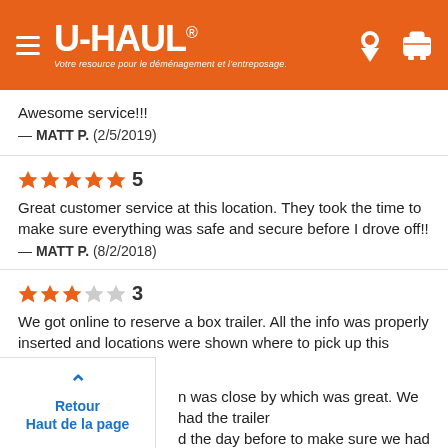[Figure (logo): U-Haul logo with hamburger menu, location pin and cart icons on orange header background. Tagline: Votre resource pour le déménagement et l'entreposage.]
Awesome service!!!
— MATT P.  (2/5/2019)
[Figure (infographic): 5 filled orange stars rating, score: 5]
Great customer service at this location. They took the time to make sure everything was safe and secure before I drove off!!
— MATT P.  (8/2/2018)
[Figure (infographic): 3 filled orange stars and 2 empty stars, score: 3]
We got online to reserve a box trailer. All the info was properly inserted and locations were shown where to pick up this particular trailer. n was close by which was great. We had the trailer d the day before to make sure we had the correct hat time the facility told us that they did not have it and we had to go to a different location. This location was farther away. We went there and all of the online information was not in the
Retour
Haut de la page